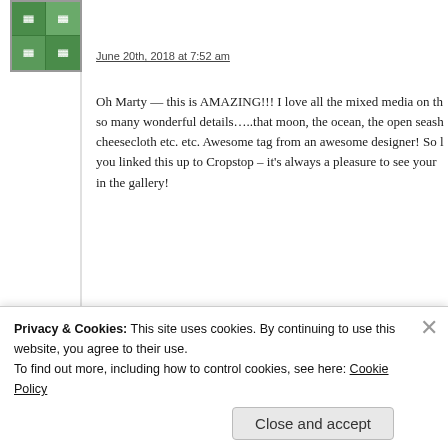[Figure (photo): Green avatar/logo image with grid pattern]
June 20th, 2018 at 7:52 am
Oh Marty — this is AMAZING!!! I love all the mixed media on th... so many wonderful details…..that moon, the ocean, the open seash... cheesecloth etc. etc. Awesome tag from an awesome designer! So l... you linked this up to Cropstop – it's always a pleasure to see your... in the gallery!
★ Like
[Figure (photo): Small portrait photo of Darlene Pavlick, a woman with reddish hair]
Darlene Pavlick
June 20th, 2018 at 9:25 am
WOW what a cool tag! Thanks so much for playing in our 'Summe... Fun' challenge at Dies R Us. Good Luck and please come back aga... soon!
Privacy & Cookies: This site uses cookies. By continuing to use this website, you agree to their use.
To find out more, including how to control cookies, see here: Cookie Policy
Close and accept